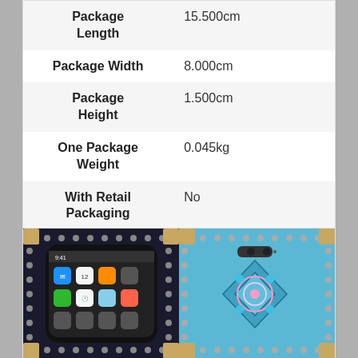| Attribute | Value |
| --- | --- |
| Package Length | 15.500cm |
| Package Width | 8.000cm |
| Package Height | 1.500cm |
| One Package Weight | 0.045kg |
| With Retail Packaging | No |
[Figure (photo): Two views of a decorative phone case for iPhone X: left shows front of phone in a black studded square case, right shows back of a blue ornate mandala-patterned case with gold corner pieces.]